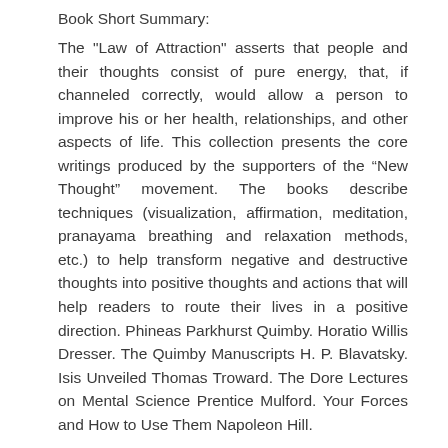Book Short Summary:
The "Law of Attraction" asserts that people and their thoughts consist of pure energy, that, if channeled correctly, would allow a person to improve his or her health, relationships, and other aspects of life. This collection presents the core writings produced by the supporters of the “New Thought” movement. The books describe techniques (visualization, affirmation, meditation, pranayama breathing and relaxation methods, etc.) to help transform negative and destructive thoughts into positive thoughts and actions that will help readers to route their lives in a positive direction. Phineas Parkhurst Quimby. Horatio Willis Dresser. The Quimby Manuscripts H. P. Blavatsky. Isis Unveiled Thomas Troward. The Dore Lectures on Mental Science Prentice Mulford. Your Forces and How to Use Them Napoleon Hill.